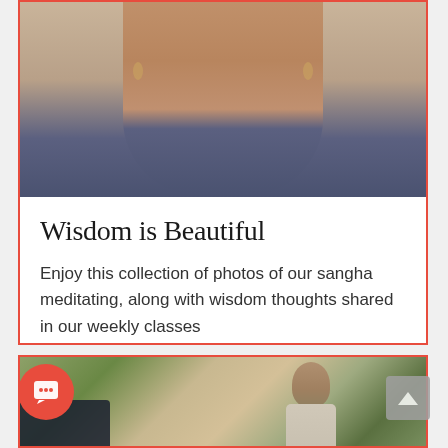[Figure (photo): Close-up photo of a person's lower face and chin, wearing a blue/grey collared shirt and small hoop earrings, against a beige background]
Wisdom is Beautiful
Enjoy this collection of photos of our sangha meditating, along with wisdom thoughts shared in our weekly classes
[Figure (photo): Photo of an older man with grey hair, wearing a light-coloured shirt, standing in front of indoor plants and a wall]